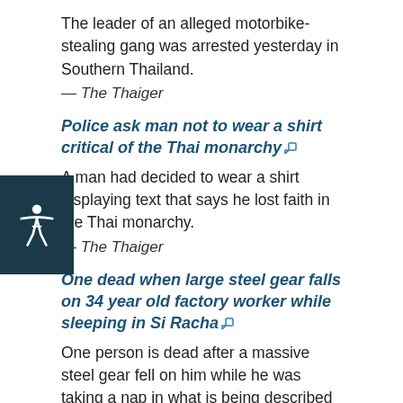The leader of an alleged motorbike-stealing gang was arrested yesterday in Southern Thailand.
— The Thaiger
Police ask man not to wear a shirt critical of the Thai monarchy
A man had decided to wear a shirt displaying text that says he lost faith in the Thai monarchy.
— The Thaiger
One dead when large steel gear falls on 34 year old factory worker while sleeping in Si Racha
One person is dead after a massive steel gear fell on him while he was taking a nap in what is being described by Si Racha police as a tragic accident.
— The Pattaya News
Runner suspects water bottle poisoning at metro Bangkok park
A Bangkok man warning other runners that someone tried to poison his water bottle at the capital's metro area...